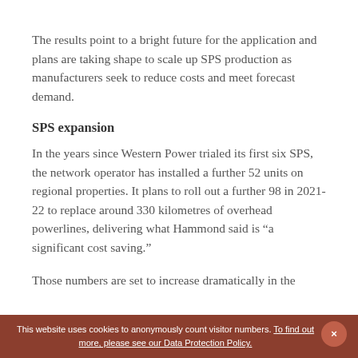The results point to a bright future for the application and plans are taking shape to scale up SPS production as manufacturers seek to reduce costs and meet forecast demand.
SPS expansion
In the years since Western Power trialed its first six SPS, the network operator has installed a further 52 units on regional properties. It plans to roll out a further 98 in 2021-22 to replace around 330 kilometres of overhead powerlines, delivering what Hammond said is “a significant cost saving.”
Those numbers are set to increase dramatically in the
This website uses cookies to anonymously count visitor numbers. To find out more, please see our Data Protection Policy.